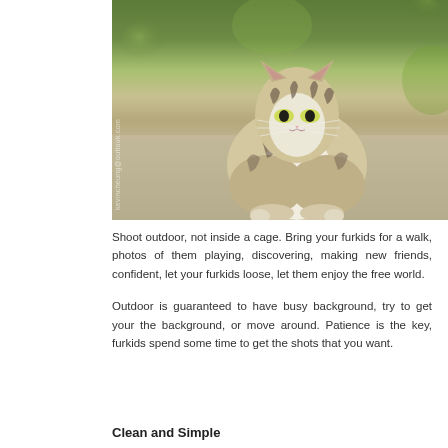[Figure (photo): A tabby and white cat sitting outdoors on a concrete surface, looking upward. Green bokeh background with grass and foliage. Vertical watermark text visible on left side of image.]
Shoot outdoor, not inside a cage. Bring your furkids for a walk, photos of them playing, discovering, making new friends, confident, let your furkids loose, let them enjoy the free world.
Outdoor is guaranteed to have busy background, try to get your the background, or move around. Patience is the key, furkids spend some time to get the shots that you want.
Clean and Simple